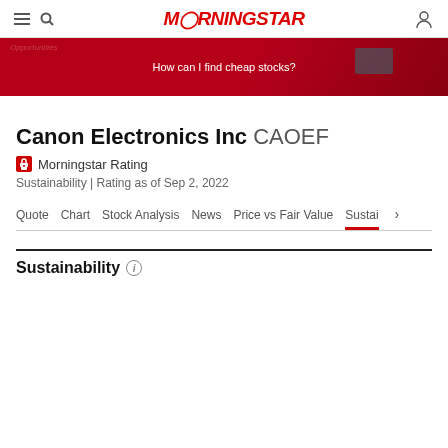MORNINGSTAR
[Figure (illustration): Red advertisement banner with text 'How can I find cheap stocks?']
Canon Electronics Inc CAOEF
🔒 Morningstar Rating
Sustainability | Rating as of Sep 2, 2022
Quote  Chart  Stock Analysis  News  Price vs Fair Value  Sustai ›
Sustainability ⓘ